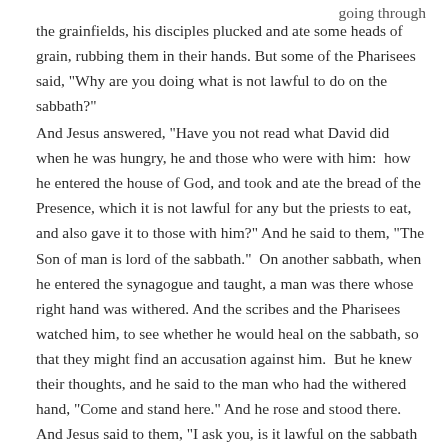going through the grainfields, his disciples plucked and ate some heads of grain, rubbing them in their hands. But some of the Pharisees said, "Why are you doing what is not lawful to do on the sabbath?"
And Jesus answered, "Have you not read what David did when he was hungry, he and those who were with him:  how he entered the house of God, and took and ate the bread of the Presence, which it is not lawful for any but the priests to eat, and also gave it to those with him?" And he said to them, "The Son of man is lord of the sabbath."  On another sabbath, when he entered the synagogue and taught, a man was there whose right hand was withered. And the scribes and the Pharisees watched him, to see whether he would heal on the sabbath, so that they might find an accusation against him.  But he knew their thoughts, and he said to the man who had the withered hand, "Come and stand here." And he rose and stood there. And Jesus said to them, "I ask you, is it lawful on the sabbath to do good or to do harm, to save life or to destroy it?"  Luke 6